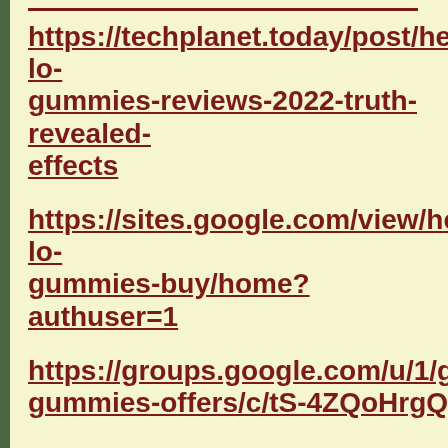https://techplanet.today/post/healthy-lo-gummies-reviews-2022-truth-revealed-effects
https://sites.google.com/view/healthy-lo-gummies-buy/home?authuser=1
https://groups.google.com/u/1/g/healthy-gummies-offers/c/tS-4ZQoHrgQ
https://eldarjaam.clubeo.com/page/hea-gummies-ingredients-that-work-for-bo
https://juliyajet.clubeo.com/page/healt